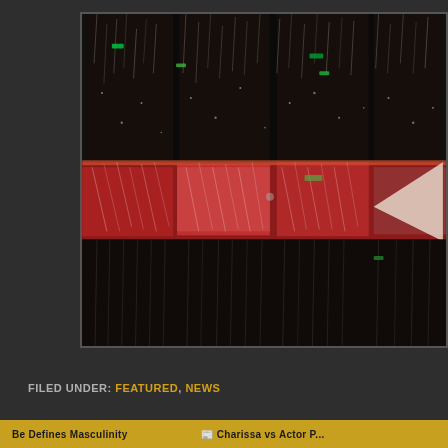[Figure (photo): A dark atmospheric photo of what appears to be a rain curtain or water feature installation viewed through glass panels, with a red/orange illuminated horizontal band in the middle section. The image shows streaks of light droplets against a dark background, with green light reflections visible. The scene appears to be a nighttime urban or interior setting.]
FILED UNDER: FEATURED, NEWS
Be Defines Masculinity    Charissa vs Actor P...